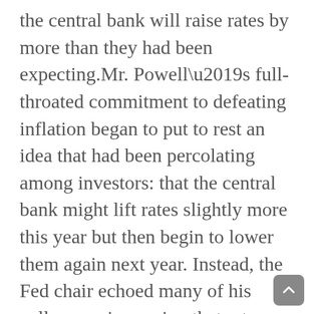the central bank will raise rates by more than they had been expecting.Mr. Powell's full-throated commitment to defeating inflation began to put to rest an idea that had been percolating among investors: that the central bank might lift rates slightly more this year but then begin to lower them again next year. Instead, the Fed chair echoed many of his colleagues in arguing that rates will need to go higher, and will need to stay in economy-restricting territory for a while, until inflation is consistently coming down.“Restoring price stability will take some time and requires using our tools forcefully to bring demand and supply into better balance,” Mr. Powell said in a